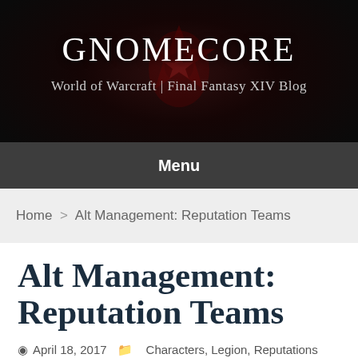[Figure (illustration): Gnomecore blog header banner with dark background and red Horde logo emblem, showing site title GNOMECORE and subtitle World of Warcraft | Final Fantasy XIV Blog]
Menu
Home > Alt Management: Reputation Teams
Alt Management: Reputation Teams
April 18, 2017  Characters, Legion, Reputations